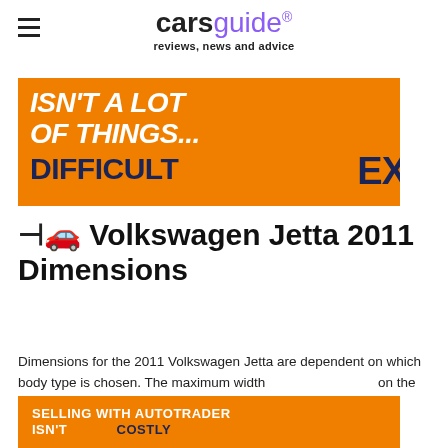carsguide® reviews, news and advice
[Figure (infographic): Orange advertisement banner with white and dark navy text reading: ISN'T A LOT OF THINGS... DIFFICULT EX]
🚗 Volkswagen Jetta 2011 Dimensions
Dimensions for the 2011 Volkswagen Jetta are dependent on which body type is chosen. The maximum width... on the ba...
[Figure (infographic): Orange advertisement banner with white and dark navy text reading: SELLING WITH AUTOTRADER ISN'T COSTLY]